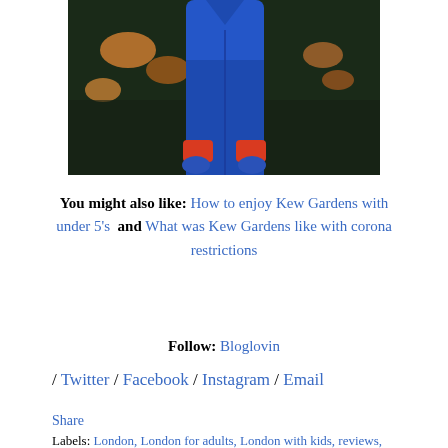[Figure (photo): Person wearing a blue jacket with red cuffs standing outdoors on grass with fallen leaves, photographed from mid-torso down]
You might also like: How to enjoy Kew Gardens with under 5's and What was Kew Gardens like with corona restrictions
Follow: Bloglovin
/ Twitter / Facebook / Instagram / Email
Share
Labels: London, London for adults, London with kids, reviews,